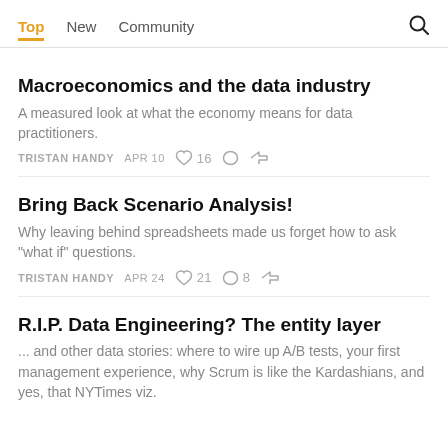Top  New  Community
Macroeconomics and the data industry
A measured look at what the economy means for data practitioners.
TRISTAN HANDY  APR 10  ♡ 16  ○  ⇢
Bring Back Scenario Analysis!
Why leaving behind spreadsheets made us forget how to ask "what if" questions.
TRISTAN HANDY  APR 24  ♡ 21  ○ 8  ⇢
R.I.P. Data Engineering? The entity layer
... and other data stories: where to wire up A/B tests, your first management experience, why Scrum is like the Kardashians, and yes, that NYTimes viz.